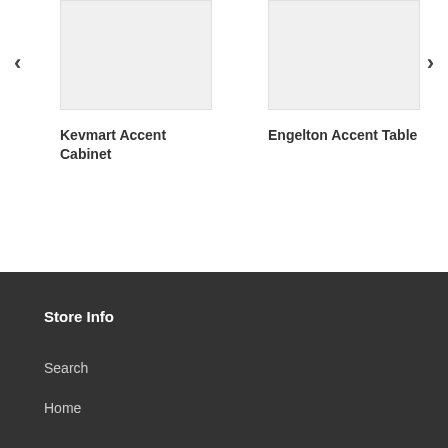[Figure (photo): Product image placeholder for Kevmart Accent Cabinet — light grey rectangle]
Kevmart Accent Cabinet
[Figure (photo): Product image placeholder for Engelton Accent Table — light grey rectangle]
Engelton Accent Table
Store Info
Search
Home